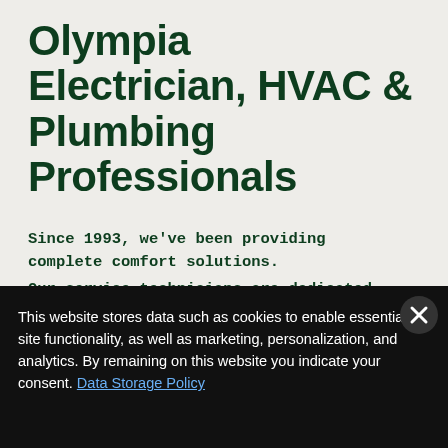Olympia Electrician, HVAC & Plumbing Professionals
Since 1993, we've been providing complete comfort solutions. Our service technicians are dedicated to arriving on time, providing professional service, using quality parts, and doing the work right the first time for the price quoted.
[Figure (illustration): Circular green accessibility icon with white wheelchair user symbol]
This website stores data such as cookies to enable essential site functionality, as well as marketing, personalization, and analytics. By remaining on this website you indicate your consent. Data Storage Policy